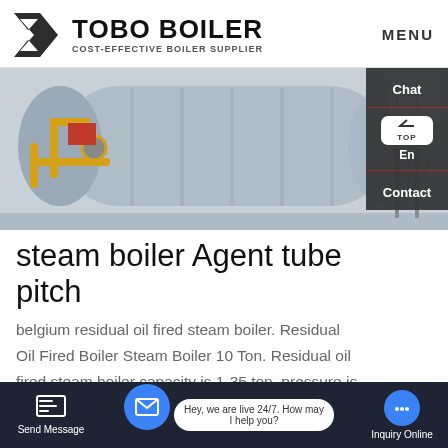TOBO BOILER COST-EFFECTIVE BOILER SUPPLIER | MENU
[Figure (photo): Industrial boiler equipment in a factory or warehouse setting, showing a large cylindrical boiler vessel with yellow pipes and fittings on the left side and a ladder on the right side.]
steam boiler Agent tube pitch
belgium residual oil fired steam boiler. Residual Oil Fired Boiler Steam Boiler 10 Ton. Residual oil fired steam boiler capacity is 1-35 ton, pressure is 0.7Mpa-2.5Mpa.Residual oil fired steam boiler adopts tried and tested three-pass and wet-back structure, more safe and reliable, increase furnace radiant heating area, decrease the boiler size,
Send Message | Hey, we are live 24/7. How may I help you? | Inquiry Online